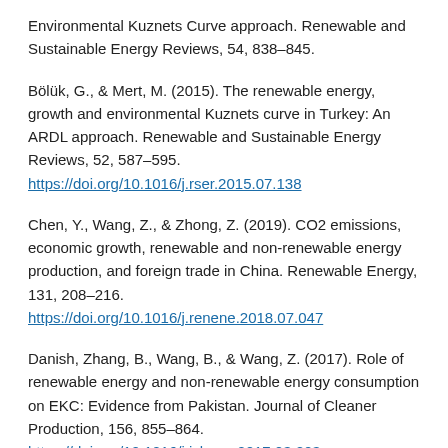Environmental Kuznets Curve approach. Renewable and Sustainable Energy Reviews, 54, 838–845.
Bölük, G., & Mert, M. (2015). The renewable energy, growth and environmental Kuznets curve in Turkey: An ARDL approach. Renewable and Sustainable Energy Reviews, 52, 587–595. https://doi.org/10.1016/j.rser.2015.07.138
Chen, Y., Wang, Z., & Zhong, Z. (2019). CO2 emissions, economic growth, renewable and non-renewable energy production, and foreign trade in China. Renewable Energy, 131, 208–216. https://doi.org/10.1016/j.renene.2018.07.047
Danish, Zhang, B., Wang, B., & Wang, Z. (2017). Role of renewable energy and non-renewable energy consumption on EKC: Evidence from Pakistan. Journal of Cleaner Production, 156, 855–864. https://doi.org/10.1016/j.jclepro.2017.03.203
Dogan, E., & Seker, F. (2016). Determinants of CO2 emissions...